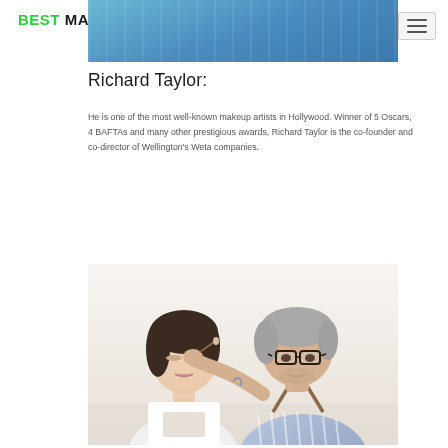BEST MAKEUP ARTISTS
[Figure (photo): Partial view of a photo at the top of the page showing a blue/teal background, partially obscured by the site header]
Richard Taylor:
He is one of the most well-known makeup artists in Hollywood. Winner of 5 Oscars, 4 BAFTAs and many other prestigious awards, Richard Taylor is the co-founder and co-director of Wellington's Weta companies.
[Figure (photo): A makeup artist (older man with grey hair and glasses, wearing a striped shirt with suspenders) applying makeup to a young woman's face. The woman has her eyes closed.]